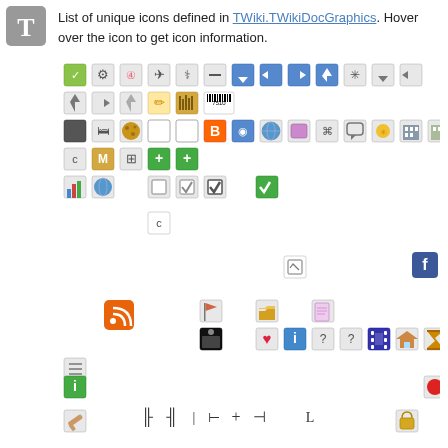[Figure (illustration): TWiki T logo icon in gray square]
List of unique icons defined in TWiki.TWikiDocGraphics. Hover over the icon to get icon information.
[Figure (illustration): Grid of various TWiki icons including navigation arrows, file icons, status icons, social media icons, and various tool/action icons scattered across the page]